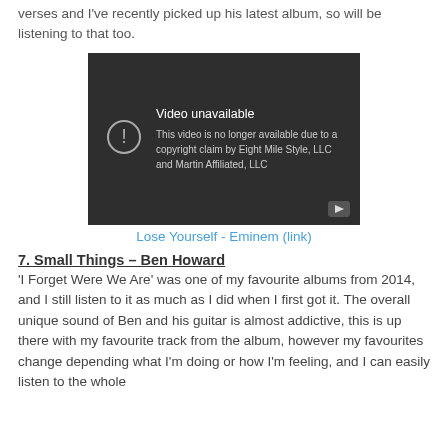verses and I've recently picked up his latest album, so will be listening to that too.
[Figure (screenshot): YouTube video unavailable screenshot with dark background. Shows 'Video unavailable' title and message: 'This video is no longer available due to a copyright claim by Eight Mile Style, LLC and Martin Affiliated, LLC'. Has a circular exclamation icon on the left and YouTube play button in bottom right corner.]
Lose Yourself - Eminem (link)
7. Small Things – Ben Howard
'I Forget Were We Are' was one of my favourite albums from 2014, and I still listen to it as much as I did when I first got it. The overall unique sound of Ben and his guitar is almost addictive, this is up there with my favourite track from the album, however my favourites change depending what I'm doing or how I'm feeling, and I can easily listen to the whole